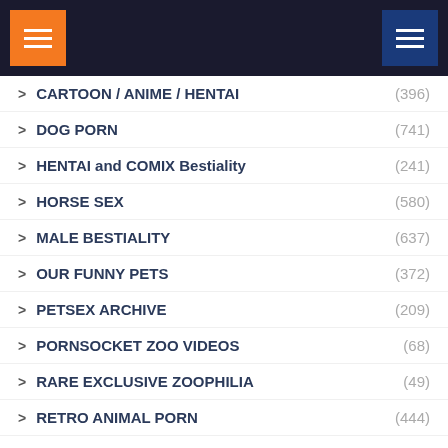Navigation header with orange menu button and blue menu button
CARTOON / ANIME / HENTAI (396)
DOG PORN (741)
HENTAI and COMIX Bestiality (241)
HORSE SEX (580)
MALE BESTIALITY (637)
OUR FUNNY PETS (372)
PETSEX ARCHIVE (209)
PORNSOCKET ZOO VIDEOS (68)
RARE EXCLUSIVE ZOOPHILIA (49)
RETRO ANIMAL PORN (444)
RUSSIAN ANIMALSEX (3...)
SITERIP BESTIALITY (1...)
Uncategorized (5)